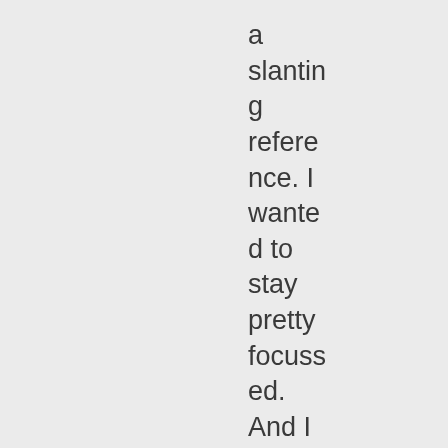a slanting reference. I wanted to stay pretty focussed. And I have her C.S. Lewis